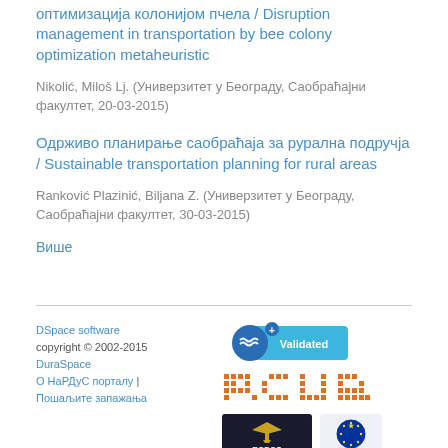оптимизација колонијом пчела / Disruption management in transportation by bee colony optimization metaheuristic
Nikolić, Miloš Lj. (Универзитет у Београду, Саобраћајни факултет, 20-03-2015)
Одрживо планирање саобраћаја за рурална подручја / Sustainable transportation planning for rural areas
Ranković Plazinić, Biljana Z. (Универзитет у Београду, Саобраћајни факултет, 30-03-2015)
Више
DSpace software copyright © 2002-2015 DuraSpace О НаРДуС порталу | Пошаљите запажања
[Figure (logo): Validated badge, RCUB logo, RODOS logo, Tempus EU logo]